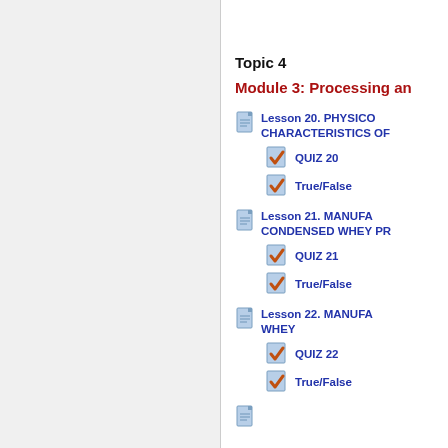Topic 4
Module 3: Processing an
Lesson 20. PHYSICO CHARACTERISTICS OF
QUIZ 20
True/False
Lesson 21. MANUFA CONDENSED WHEY PR
QUIZ 21
True/False
Lesson 22. MANUFA WHEY
QUIZ 22
True/False